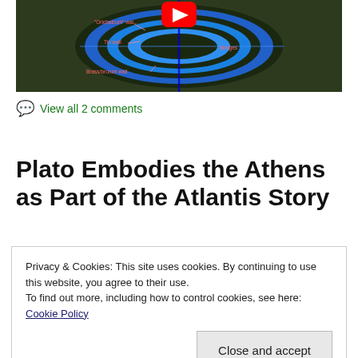[Figure (illustration): Diagram of concentric rings representing Atlantis layout with labels: 'Orichalcum' wall, Tin wall, Bridges, Brass/bronze wall. Dark green background with blue water rings and a YouTube play button icon in the center top.]
View all 2 comments
Plato Embodies the Athens as Part of the Atlantis Story
Privacy & Cookies: This site uses cookies. By continuing to use this website, you agree to their use.
To find out more, including how to control cookies, see here: Cookie Policy